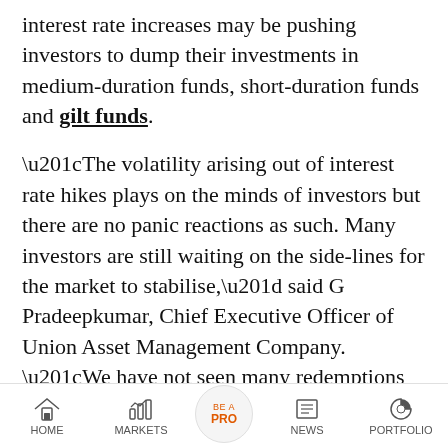interest rate increases may be pushing investors to dump their investments in medium-duration funds, short-duration funds and gilt funds.
“The volatility arising out of interest rate hikes plays on the minds of investors but there are no panic reactions as such. Many investors are still waiting on the side-lines for the market to stabilise,” said G Pradeepkumar, Chief Executive Officer of Union Asset Management Company. “We have not seen many redemptions or cancellations of SIP (systematic investment plans) as of now.”
HOME   MARKETS   BE A PRO   NEWS   PORTFOLIO